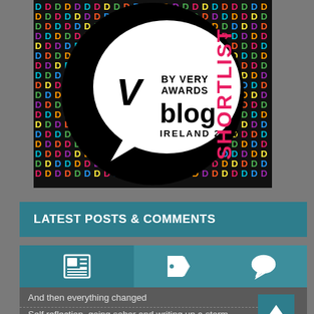[Figure (logo): By Very Blog Awards Ireland 2017 Shortlist badge logo on colorful tiled background]
LATEST POSTS & COMMENTS
[Figure (infographic): Three tab icons: newspaper/posts icon (active tab), tag icon, and comment bubble icon]
And then everything changed
Self reflection, going sober and writing up a storm